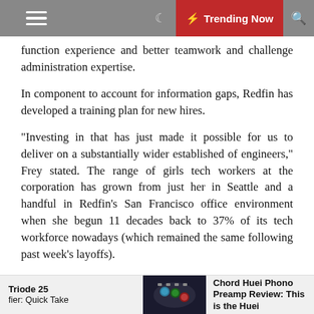Trending Now
function experience and better teamwork and challenge administration expertise.
In component to account for information gaps, Redfin has developed a training plan for new hires.
“Investing in that has just made it possible for us to deliver on a substantially wider established of engineers,” Frey stated. The range of girls tech workers at the corporation has grown from just her in Seattle and a handful in Redfin’s San Francisco office environment when she begun 11 decades back to 37% of its tech workforce nowadays (which remained the same following past week’s layoffs).
Still, as Ada broadened its mission to aim far more on women of all ages of color, it discovered its graduates were being not all achieving the exact achievements
Triode 25 fier: Quick Take | Chord Huei Phono Preamp Review: This is the Huei